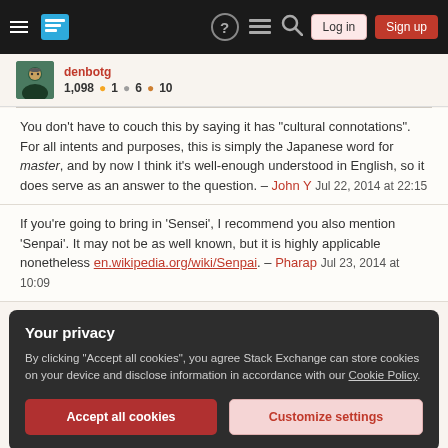Stack Exchange navigation bar with hamburger menu, logo, help, feedback, search icons, Log in and Sign up buttons
denbotg 1,098 ●1 ●6 ●10
You don't have to couch this by saying it has "cultural connotations". For all intents and purposes, this is simply the Japanese word for master, and by now I think it's well-enough understood in English, so it does serve as an answer to the question. – John Y Jul 22, 2014 at 22:15
If you're going to bring in 'Sensei', I recommend you also mention 'Senpai'. It may not be as well known, but it is highly applicable nonetheless en.wikipedia.org/wiki/Senpai. – Pharap Jul 23, 2014 at 10:09
Your privacy
By clicking "Accept all cookies", you agree Stack Exchange can store cookies on your device and disclose information in accordance with our Cookie Policy.
them. I make no claims regarding my typography or